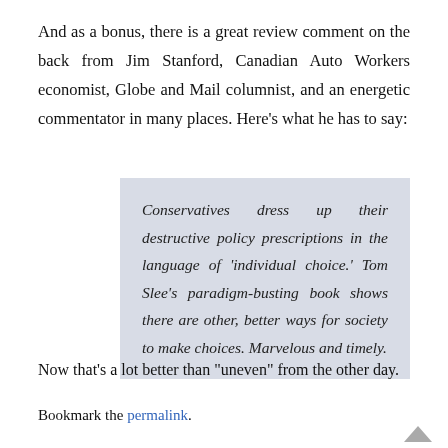And as a bonus, there is a great review comment on the back from Jim Stanford, Canadian Auto Workers economist, Globe and Mail columnist, and an energetic commentator in many places. Here’s what he has to say:
Conservatives dress up their destructive policy prescriptions in the language of ‘individual choice.’ Tom Slee’s paradigm-busting book shows there are other, better ways for society to make choices. Marvelous and timely.
Now that’s a lot better than "uneven" from the other day.
Bookmark the permalink.